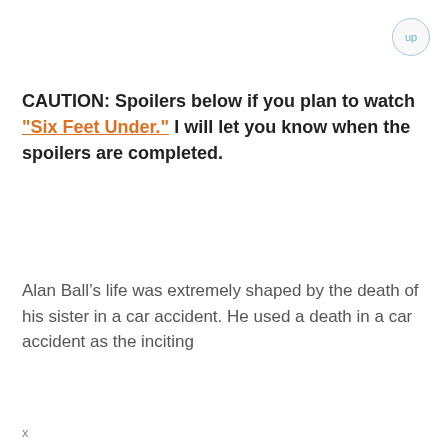up
CAUTION: Spoilers below if you plan to watch "Six Feet Under." I will let you know when the spoilers are completed.
Alan Ball’s life was extremely shaped by the death of his sister in a car accident. He used a death in a car accident as the inciting
x